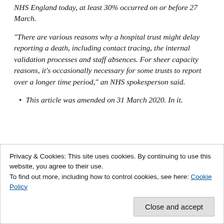NHS England today, at least 30% occurred on or before 27 March.
“There are various reasons why a hospital trust might delay reporting a death, including contact tracing, the internal validation processes and staff absences. For sheer capacity reasons, it’s occasionally necessary for some trusts to report over a longer time period,” an NHS spokesperson said.
This article was amended on 31 March 2020. In it.
Privacy & Cookies: This site uses cookies. By continuing to use this website, you agree to their use. To find out more, including how to control cookies, see here: Cookie Policy